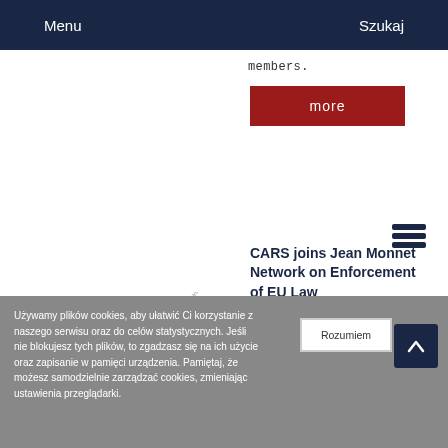Menu    Szukaj
members.
more
CARS joins Jean Monnet Network on Enforcement of EU Law
[Figure (logo): CARS Centre for Antitrust and Regulatory Studies logo alongside University of Warsaw Faculty of Management seal]
We are happy to inform that the Centre for Antitrust and Regulatory Studies of University of Warsaw (CARS) is part of newly established Jean Monnet Network on Enforcement of EU Law (EULEN).
Używamy plików cookies, aby ułatwić Ci korzystanie z naszego serwisu oraz do celów statystycznych. Jeśli nie blokujesz tych plików, to zgadzasz się na ich użycie oraz zapisanie w pamięci urządzenia. Pamiętaj, że możesz samodzielnie zarządzać cookies, zmieniając ustawienia przeglądarki.
Rozumiem